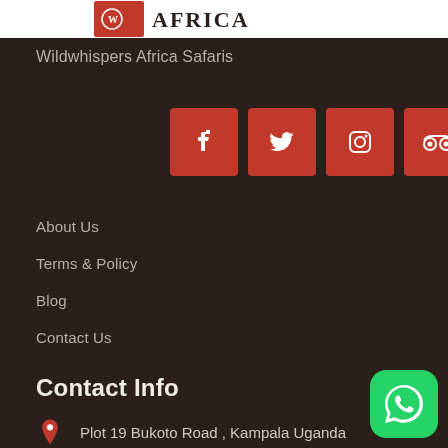[Figure (logo): Wildwhispers Africa Safaris logo — red emblem on white background with decorative text]
Wildwhispers Africa Safaris
[Figure (infographic): Row of five social media icon buttons (Facebook, Twitter, Instagram, TripAdvisor, Pinterest) on red square backgrounds]
About Us
Terms & Policy
Blog
Contact Us
Contact Info
Plot 19 Bukoto Road , Kampala Uganda